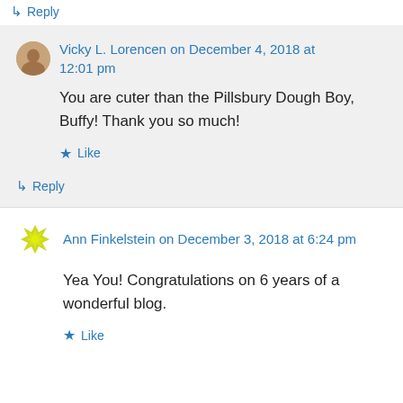↳ Reply
Vicky L. Lorencen on December 4, 2018 at 12:01 pm
You are cuter than the Pillsbury Dough Boy, Buffy! Thank you so much!
★ Like
↳ Reply
Ann Finkelstein on December 3, 2018 at 6:24 pm
Yea You! Congratulations on 6 years of a wonderful blog.
★ Like